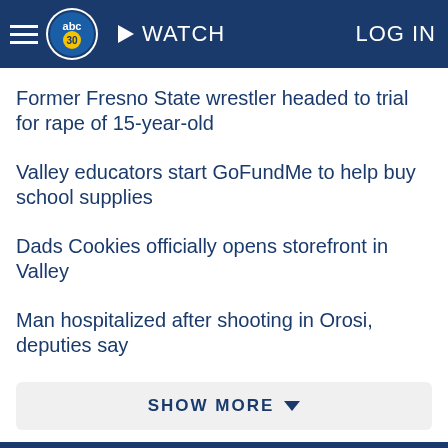abc30 WATCH LOG IN
Former Fresno State wrestler headed to trial for rape of 15-year-old
Valley educators start GoFundMe to help buy school supplies
Dads Cookies officially opens storefront in Valley
Man hospitalized after shooting in Orosi, deputies say
SHOW MORE
Home
AccuWeather
Traffic
Local News
Categories
Station Info